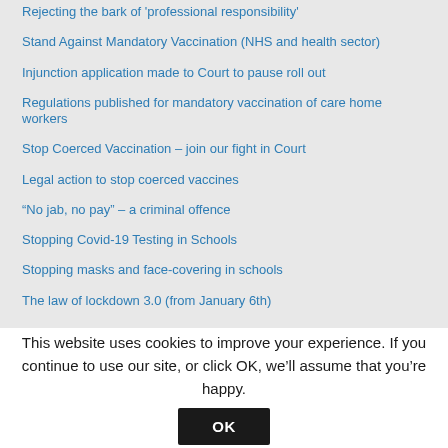Rejecting the bark of 'professional responsibility'
Stand Against Mandatory Vaccination (NHS and health sector)
Injunction application made to Court to pause roll out
Regulations published for mandatory vaccination of care home workers
Stop Coerced Vaccination – join our fight in Court
Legal action to stop coerced vaccines
“No jab, no pay” – a criminal offence
Stopping Covid-19 Testing in Schools
Stopping masks and face-covering in schools
The law of lockdown 3.0 (from January 6th)
This website uses cookies to improve your experience. If you continue to use our site, or click OK, we’ll assume that you’re happy.